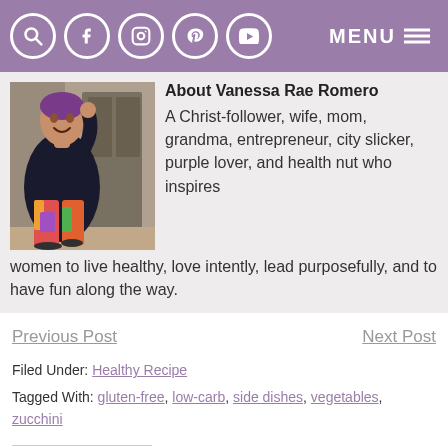MENU (navigation bar with search, facebook, instagram, pinterest, youtube icons)
[Figure (photo): Photo of Vanessa Rae Romero, a woman wearing a purple head wrap and colorful patterned pants, sitting against a brick wall, smiling.]
About Vanessa Rae Romero
A Christ-follower, wife, mom, grandma, entrepreneur, city slicker, purple lover, and health nut who inspires women to live healthy, love intently, lead purposefully, and to have fun along the way.
Previous Post
Next Post
Filed Under: Healthy Recipe
Tagged With: gluten-free, low-carb, side dishes, vegetables, zucchini